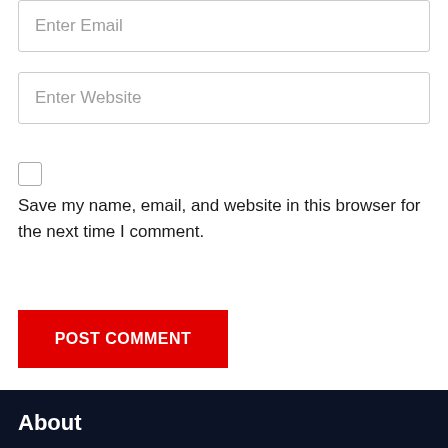Enter Email
Enter Website
Save my name, email, and website in this browser for the next time I comment.
POST COMMENT
About